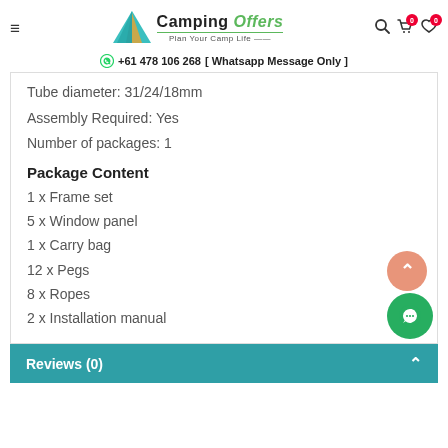Camping Offers — Plan Your Camp Life | +61 478 106 268 [ Whatsapp Message Only ]
Tube diameter: 31/24/18mm
Assembly Required: Yes
Number of packages: 1
Package Content
1 x Frame set
5 x Window panel
1 x Carry bag
12 x Pegs
8 x Ropes
2 x Installation manual
Reviews (0)